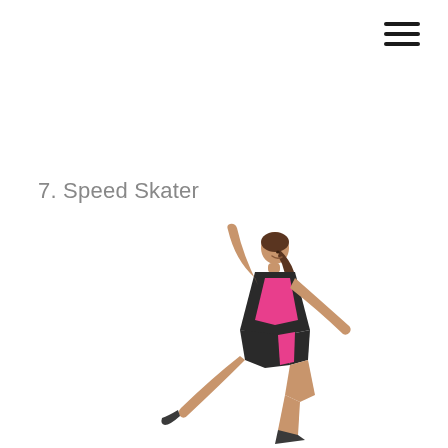[Figure (other): Hamburger menu icon (three horizontal lines) in top-right corner]
7. Speed Skater
[Figure (photo): A young woman in black and pink athletic outfit performing a speed skater exercise pose — leaning forward with one arm raised and legs spread in a lateral lunge on a white background]